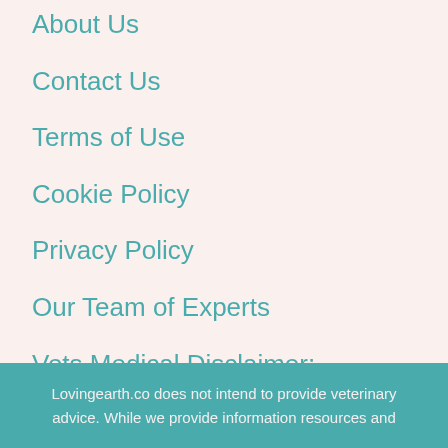About Us
Contact Us
Terms of Use
Cookie Policy
Privacy Policy
Our Team of Experts
Vets Medical Disclaimer:
Disclaimer
Lovingearth.co does not intend to provide veterinary advice. While we provide information resources and